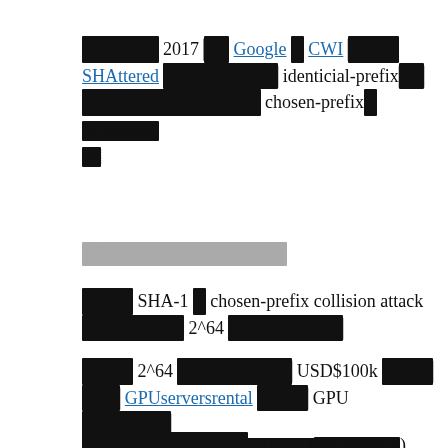[redacted] 2017 [redacted] Google [redacted] CWI [redacted] SHAttered [redacted] identicial-prefix[redacted] [redacted] chosen-prefix[redacted][redacted]
[redacted]
[redacted] SHA-1 [redacted] chosen-prefix collision attack [redacted] 2^64 [redacted]
[redacted] 2^64 [redacted] USD$100k [redacted] GPUserversrental [redacted] GPU [redacted] [redacted] 2^64 [redacted] USD$100k [redacted]
[redacted] SHA-1 ([redacted])[redacted]